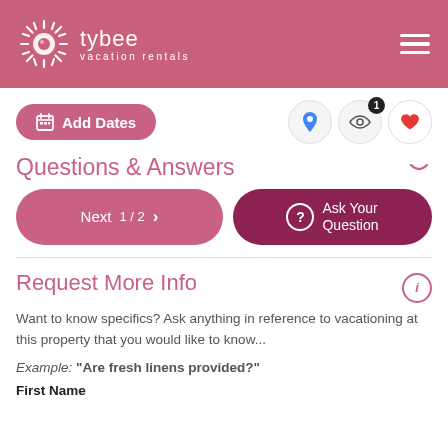tybee vacation rentals
Add Dates
Questions & Answers
Next  1 / 2  >
Ask Your Question
Request More Info
Want to know specifics? Ask anything in reference to vacationing at this property that you would like to know...
Example: "Are fresh linens provided?"
First Name